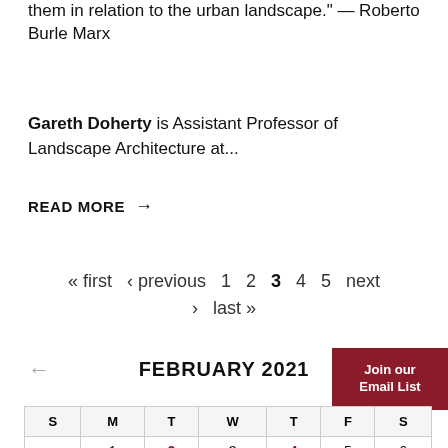them in relation to the urban landscape." — Roberto Burle Marx
Gareth Doherty is Assistant Professor of Landscape Architecture at...
READ MORE →
« first ‹ previous 1 2 3 4 5 next › last »
FEBRUARY 2021
| S | M | T | W | T | F | S |
| --- | --- | --- | --- | --- | --- | --- |
|  | 1 | 2 | 3 | 4 | 5 | 6 |